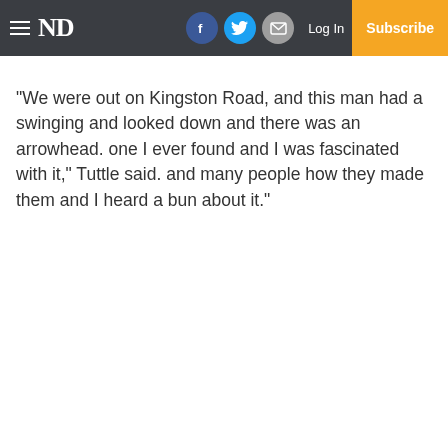ND | Facebook | Twitter | Email | Log In | Subscribe
“We were out on Kingston Road, and this man had a swinging and looked down and there was an arrowhead. one I ever found and I was fascinated with it,” Tuttle said. and many people how they made them and I heard a bun about it.”